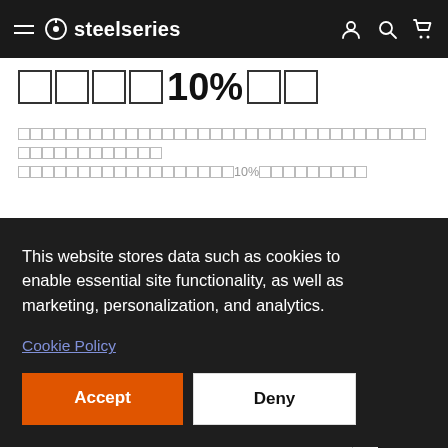steelseries
□□□□10%□□
□□□□□□□□□□□□□□□□□□□□□□□□□□□□□□□□□□□□□□□□□□□□□ □□□□□□□□□□□□□□□□10%□□□□□□□□□
This website stores data such as cookies to enable essential site functionality, as well as marketing, personalization, and analytics.
Cookie Policy
Accept
Deny